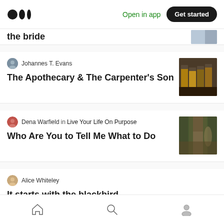Medium logo | Open in app | Get started
the bride
Johannes T. Evans
The Apothecary & The Carpenter's Son
Dena Warfield in Live Your Life On Purpose
Who Are You to Tell Me What to Do
Alice Whiteley
It starts with the blackbird.
Brady Miller
Home | Search | Profile